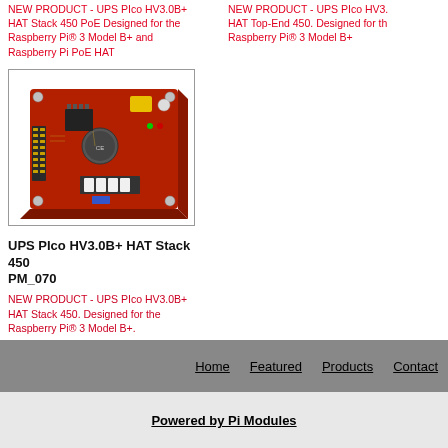NEW PRODUCT - UPS PIco HV3.0B+ HAT Stack 450 PoE Designed for the Raspberry Pi® 3 Model B+ and Raspberry Pi PoE HAT
NEW PRODUCT - UPS PIco HV3.0B+ HAT Top-End 450. Designed for the Raspberry Pi® 3 Model B+
[Figure (photo): UPS PIco HV3.0B+ HAT Stack 450 circuit board product photo, showing a red PCB with various electronic components, mounted on standoffs]
UPS PIco HV3.0B+ HAT Stack 450 PM_070
NEW PRODUCT - UPS PIco HV3.0B+ HAT Stack 450. Designed for the Raspberry Pi® 3 Model B+.
Home   Featured   Products   Contact
Powered by Pi Modules